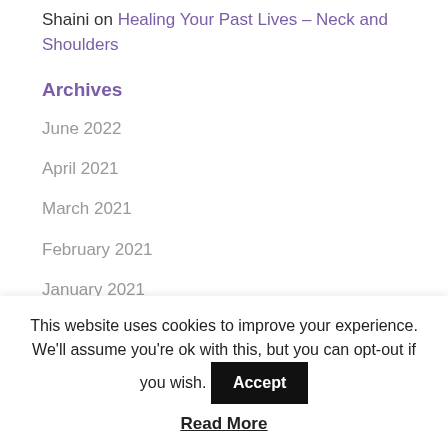Shaini on Healing Your Past Lives – Neck and Shoulders
Archives
June 2022
April 2021
March 2021
February 2021
January 2021
December 2020
This website uses cookies to improve your experience. We'll assume you're ok with this, but you can opt-out if you wish.
Accept
Read More